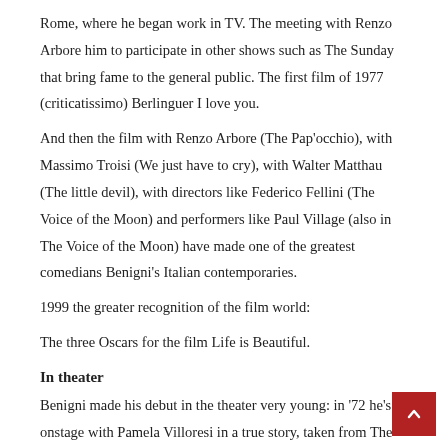Rome, where he began work in TV. The meeting with Renzo Arbore him to participate in other shows such as The Sunday that bring fame to the general public. The first film of 1977 (criticatissimo) Berlinguer I love you.
And then the film with Renzo Arbore (The Pap'occhio), with Massimo Troisi (We just have to cry), with Walter Matthau (The little devil), with directors like Federico Fellini (The Voice of the Moon) and performers like Paul Village (also in The Voice of the Moon) have made one of the greatest comedians Benigni's Italian contemporaries.
1999 the greater recognition of the film world:
The three Oscars for the film Life is Beautiful.
In theater
Benigni made his debut in the theater very young: in '72 he's onstage with Pamela Villoresi in a true story, taken from The Naked King, directed by Paul Magelli. In the same year I played with Carlo Monn directed by Benno under the direction of Renato Saraiei Domenthe